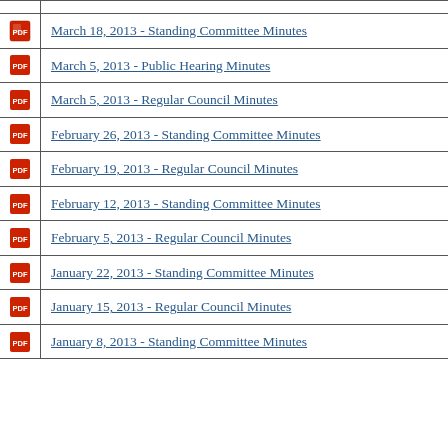March 18, 2013 - Standing Committee Minutes
March 5, 2013 - Public Hearing Minutes
March 5, 2013 - Regular Council Minutes
February 26, 2013 - Standing Committee Minutes
February 19, 2013 - Regular Council Minutes
February 12, 2013 - Standing Committee Minutes
February 5, 2013 - Regular Council Minutes
January 22, 2013 - Standing Committee Minutes
January 15, 2013 - Regular Council Minutes
January 8, 2013 - Standing Committee Minutes